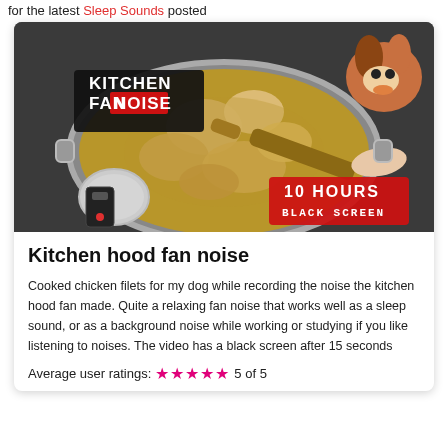for the latest Sleep Sounds posted
[Figure (photo): Thumbnail image of a kitchen pot with chicken pieces being cooked, a hand holding a wooden spoon stirring, a microphone windscreen and recorder on the left, and a dog peeking from the upper right. Overlaid text reads 'KITCHEN FAN NOISE' in top left and '10 HOURS BLACK SCREEN' in bottom right.]
Kitchen hood fan noise
Cooked chicken filets for my dog while recording the noise the kitchen hood fan made. Quite a relaxing fan noise that works well as a sleep sound, or as a background noise while working or studying if you like listening to noises. The video has a black screen after 15 seconds
Average user ratings: ★★★★★ 5 of 5